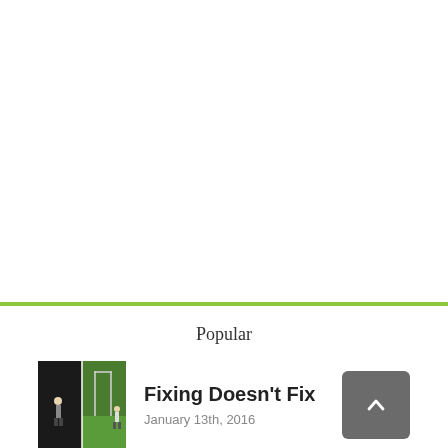Popular
[Figure (photo): Thumbnail image showing two people on a grass field with a goal post or frame structure]
Fixing Doesn't Fix
January 13th, 2016